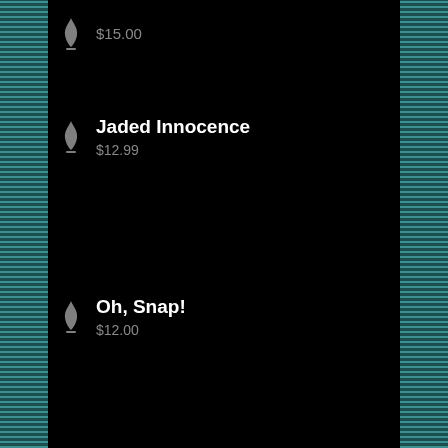$15.00
Jaded Innocence
$12.99
Oh, Snap!
$12.00
Immerse Yourself: With Wonder Hannah
$12.99
My Lovely Ragdoll
$15.00
Sleepy Surprise Party
$12.00